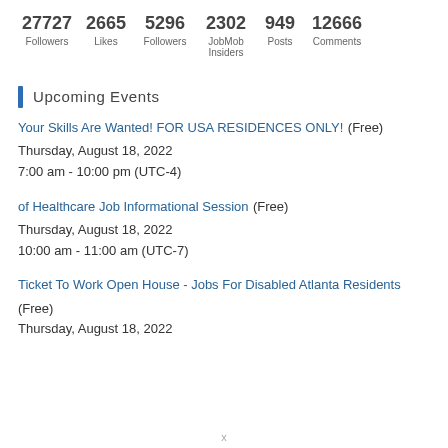| Stat | Value |
| --- | --- |
| Followers | 27727 |
| Likes | 2665 |
| Followers | 5296 |
| JobMob Insiders | 2302 |
| Posts | 949 |
| Comments | 12666 |
Upcoming Events
Your Skills Are Wanted! FOR USA RESIDENCES ONLY! (Free)
Thursday, August 18, 2022
7:00 am - 10:00 pm (UTC-4)
of Healthcare Job Informational Session (Free)
Thursday, August 18, 2022
10:00 am - 11:00 am (UTC-7)
Ticket To Work Open House - Jobs For Disabled Atlanta Residents (Free)
Thursday, August 18, 2022
x